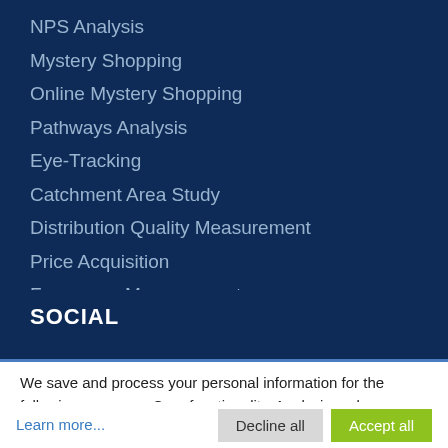NPS Analysis
Mystery Shopping
Online Mystery Shopping
Pathways Analysis
Eye-Tracking
Catchment Area Study
Distribution Quality Measurement
Price Acquisition
Frequency Measurement
SOCIAL
We save and process your personal information for the following purposes: Core functionality, Analysis and Statistics, Spam protection.
Learn more...
Decline all
Accept all